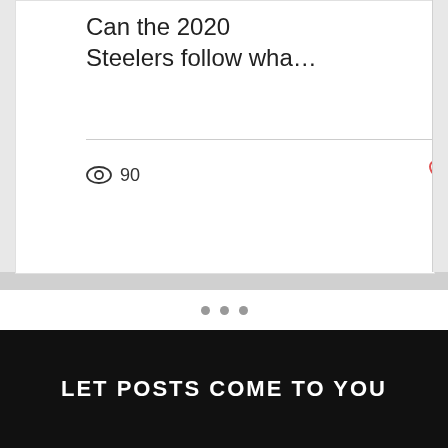Can the 2020 Steelers follow wha…
90
• • •
Comments    Newest ∨
Loading...
LET POSTS COME TO YOU